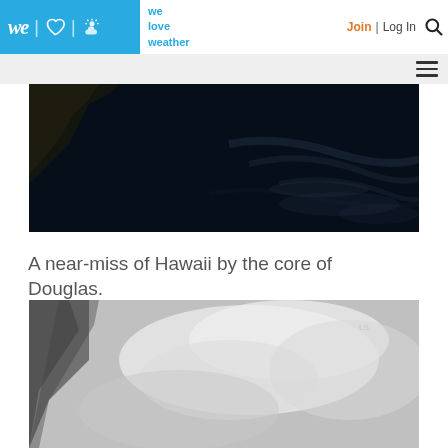we love weather — Join | Log In
[Figure (photo): Dark satellite or night image showing Hawaii and Hurricane Douglas cloud bands over dark ocean]
A near-miss of Hawaii by the core of Douglas.
[Figure (photo): Grayscale satellite image showing cloud formations, likely of Hurricane Douglas]